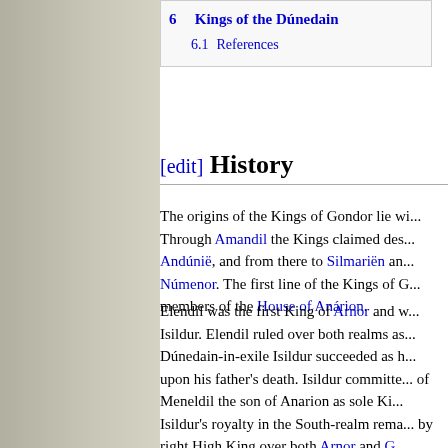6 Kings of the Dúnedain
6.1 References
[edit] History
The origins of the Kings of Gondor lie wi... Through Amandil the Kings claimed des... Andúnië, and from there to Silmariën an... Númenor. The first line of the Kings of G... members of the House of Anárion.
Elendil was the first King of Arnor and w... Isildur. Elendil ruled over both realms as... Dúnedain-in-exile Isildur succeeded as h... upon his father's death. Isildur committe... of Meneldil the son of Anarion as sole Ki... Isildur's royalty in the South-realm rema... by right High King over both Arnor and G... Isildur's death, the realms were split. Isil... opted to not press his claim as High Kin...